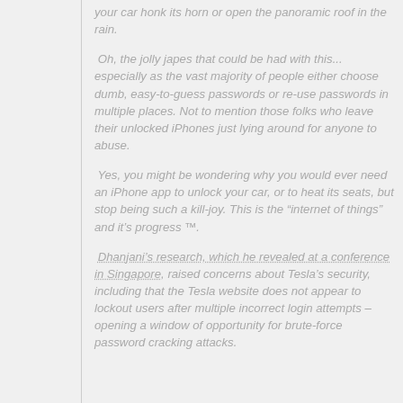your car honk its horn or open the panoramic roof in the rain.
Oh, the jolly japes that could be had with this... especially as the vast majority of people either choose dumb, easy-to-guess passwords or re-use passwords in multiple places. Not to mention those folks who leave their unlocked iPhones just lying around for anyone to abuse.
Yes, you might be wondering why you would ever need an iPhone app to unlock your car, or to heat its seats, but stop being such a kill-joy. This is the "internet of things" and it's progress™.
Dhanjani's research, which he revealed at a conference in Singapore, raised concerns about Tesla's security, including that the Tesla website does not appear to lockout users after multiple incorrect login attempts – opening a window of opportunity for brute-force password cracking attacks.